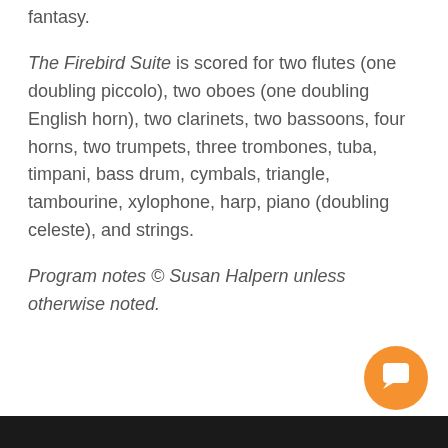fantasy.
The Firebird Suite is scored for two flutes (one doubling piccolo), two oboes (one doubling English horn), two clarinets, two bassoons, four horns, two trumpets, three trombones, tuba, timpani, bass drum, cymbals, triangle, tambourine, xylophone, harp, piano (doubling celeste), and strings.
Program notes © Susan Halpern unless otherwise noted.